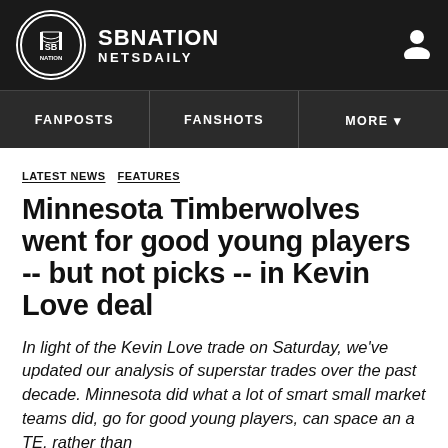SB NATION / NETSDAILY
FANPOSTS    FANSHOTS    MORE
LATEST NEWS  FEATURES
Minnesota Timberwolves went for good young players -- but not picks -- in Kevin Love deal
In light of the Kevin Love trade on Saturday, we've updated our analysis of superstar trades over the past decade. Minnesota did what a lot of smart small market teams did, go for good young players, can space an a TE, rather than